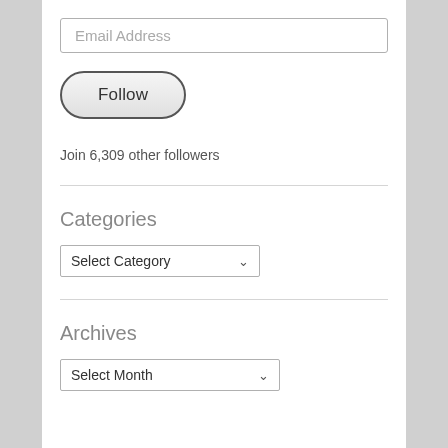[Figure (screenshot): Email address input field with placeholder text 'Email Address']
[Figure (screenshot): Follow button with rounded pill shape and dark border]
Join 6,309 other followers
Categories
[Figure (screenshot): Select Category dropdown widget]
Archives
[Figure (screenshot): Select Month dropdown widget]